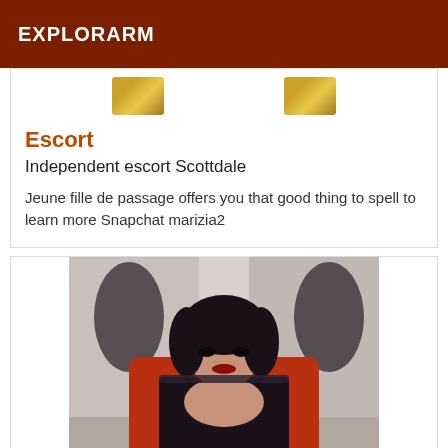EXPLORARM
[Figure (photo): Two small thumbnail images of a person, partially visible at the top of a listing card]
Escort
Independent escort Scottdale
Jeune fille de passage offers you that good thing to spell to learn more Snapchat marizia2
[Figure (photo): Portrait photo of a young woman with dark short hair, wearing a black top and red robe, posing indoors]